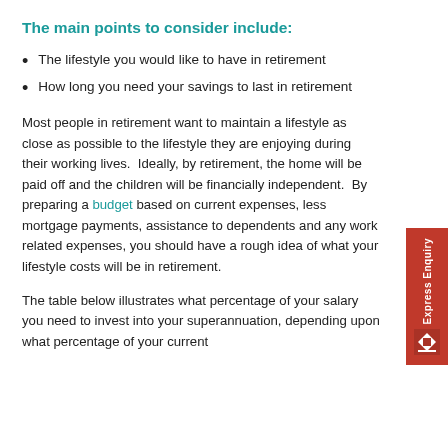The main points to consider include:
The lifestyle you would like to have in retirement
How long you need your savings to last in retirement
Most people in retirement want to maintain a lifestyle as close as possible to the lifestyle they are enjoying during their working lives.  Ideally, by retirement, the home will be paid off and the children will be financially independent.  By preparing a budget based on current expenses, less mortgage payments, assistance to dependents and any work related expenses, you should have a rough idea of what your lifestyle costs will be in retirement.
The table below illustrates what percentage of your salary you need to invest into your superannuation, depending upon what percentage of your current